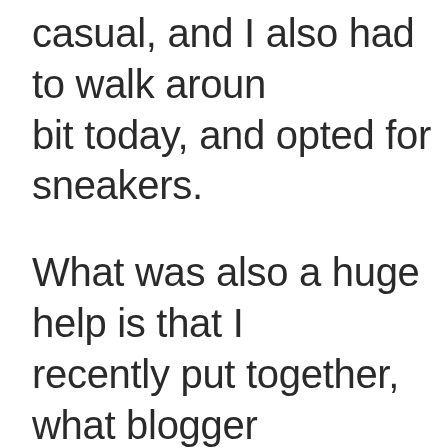casual, and I also had to walk around a bit today, and opted for sneakers.
What was also a huge help is that I recently put together, what blogger Brenda Kinsel calls, a "beauty bundle" rose gold accessories. The idea popped up in my pinterest and I was intrigued because it allowed me to put a name and consciously practice something that I already instinctively do anywa...